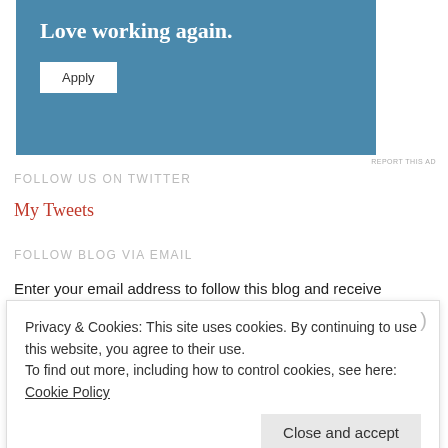[Figure (other): Advertisement banner with blue background showing 'Love working again.' text and an Apply button]
REPORT THIS AD
FOLLOW US ON TWITTER
My Tweets
FOLLOW BLOG VIA EMAIL
Enter your email address to follow this blog and receive notifications of
Privacy & Cookies: This site uses cookies. By continuing to use this website, you agree to their use.
To find out more, including how to control cookies, see here: Cookie Policy
Close and accept